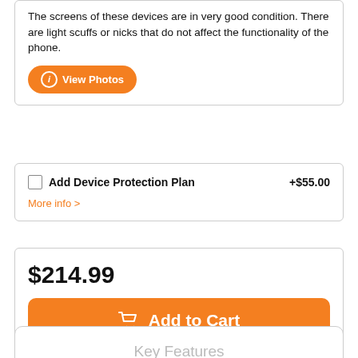The screens of these devices are in very good condition. There are light scuffs or nicks that do not affect the functionality of the phone.
View Photos
Add Device Protection Plan +$55.00
More info >
$214.99
Add to Cart
Key Features